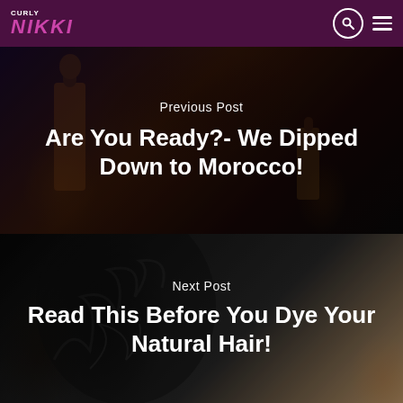CURLY NIKKI
[Figure (photo): Dark moody street scene with figures, used as background for Previous Post navigation]
Previous Post
Are You Ready?- We Dipped Down to Morocco!
[Figure (photo): Back of woman with curly natural hair, used as background for Next Post navigation]
Next Post
Read This Before You Dye Your Natural Hair!